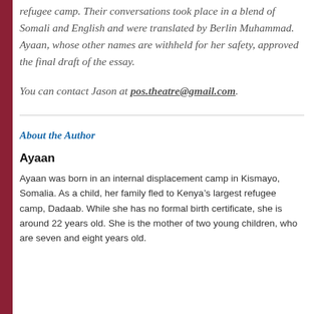refugee camp. Their conversations took place in a blend of Somali and English and were translated by Berlin Muhammad. Ayaan, whose other names are withheld for her safety, approved the final draft of the essay.
You can contact Jason at pos.theatre@gmail.com.
About the Author
Ayaan
Ayaan was born in an internal displacement camp in Kismayo, Somalia. As a child, her family fled to Kenya’s largest refugee camp, Dadaab. While she has no formal birth certificate, she is around 22 years old. She is the mother of two young children, who are seven and eight years old.